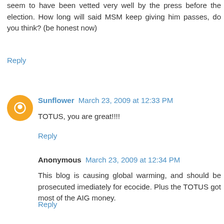seem to have been vetted very well by the press before the election. How long will said MSM keep giving him passes, do you think? (be honest now)
Reply
Sunflower  March 23, 2009 at 12:33 PM
TOTUS, you are great!!!!
Reply
Anonymous  March 23, 2009 at 12:34 PM
This blog is causing global warming, and should be prosecuted imediately for ecocide. Plus the TOTUS got most of the AIG money.
Reply
Anonymous  March 23, 2009 at 12:34 PM
This comment has been removed by the author.